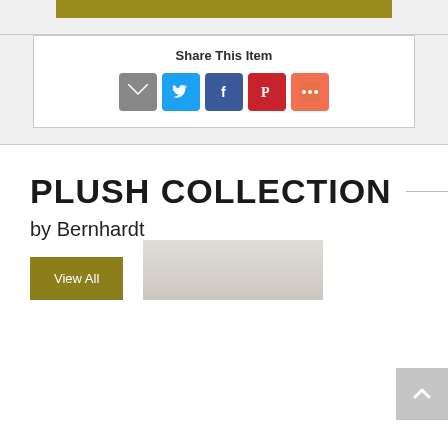[Figure (screenshot): Gold/olive colored button bar at top of section]
Share This Item
[Figure (infographic): Social share icons: Email (gray), Twitter (blue), Facebook (dark blue), Pinterest (red), More (orange-red)]
PLUSH COLLECTION
by Bernhardt
[Figure (other): View All button in olive/gold color]
[Figure (other): Back to top button (gray, arrow up) in bottom right corner]
[Figure (photo): Partial product image at bottom of page, partially cut off]